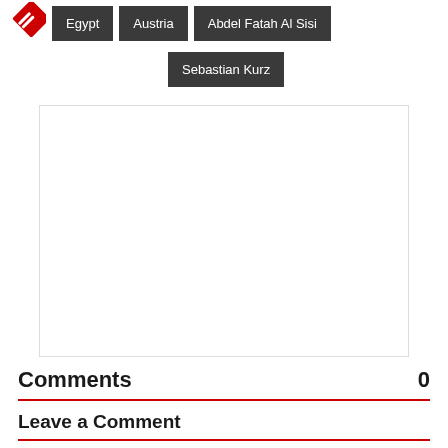[Figure (logo): Red diamond-shaped tag icon with white stripes]
Egypt
Austria
Abdel Fatah Al Sisi
Sebastian Kurz
[Figure (other): Empty white advertisement or embed placeholder box]
Comments
Leave a Comment